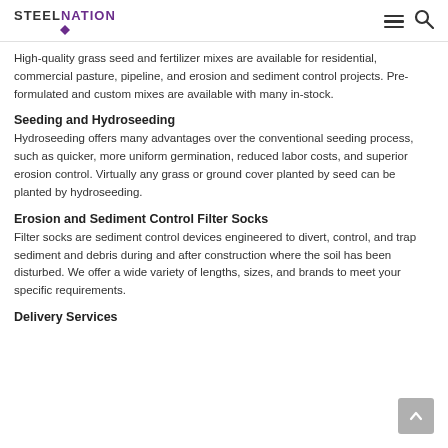STEELNATION
High-quality grass seed and fertilizer mixes are available for residential, commercial pasture, pipeline, and erosion and sediment control projects. Pre-formulated and custom mixes are available with many in-stock.
Seeding and Hydroseeding
Hydroseeding offers many advantages over the conventional seeding process, such as quicker, more uniform germination, reduced labor costs, and superior erosion control. Virtually any grass or ground cover planted by seed can be planted by hydroseeding.
Erosion and Sediment Control Filter Socks
Filter socks are sediment control devices engineered to divert, control, and trap sediment and debris during and after construction where the soil has been disturbed. We offer a wide variety of lengths, sizes, and brands to meet your specific requirements.
Delivery Services